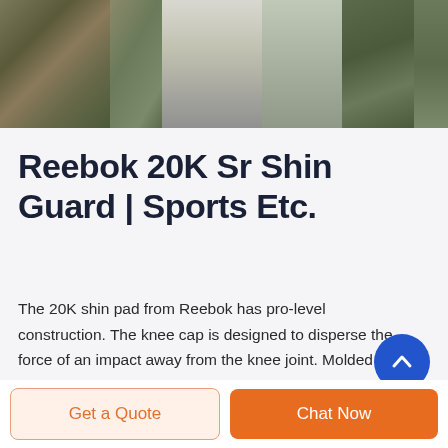[Figure (photo): Row of product thumbnail images: camouflage fabric, military tent/cot, olive poncho/raincoat, and gear pieces]
Reebok 20K Sr Shin Guard | Sports Etc.
The 20K shin pad from Reebok has pro-level construction. The knee cap is designed to disperse the force of an impact away from the knee joint. Molded HD foam around the calf and knee enhances the overall protection. New lock interlaced through shin guard designed to better
[Figure (other): Blue circular scroll-to-top button with upward chevron arrow]
Get a Quote
Chat Now